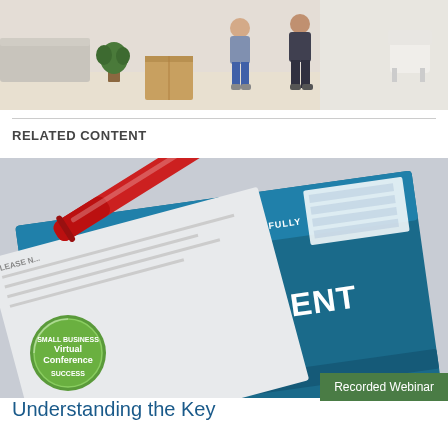[Figure (photo): Two people walking in an apartment with moving boxes and covered furniture, bright room with a plant]
RELATED CONTENT
[Figure (photo): Close-up of a lease agreement document with a red pen resting on it and a Small Business Virtual Conference Success badge in the corner]
Recorded Webinar
Understanding the Key